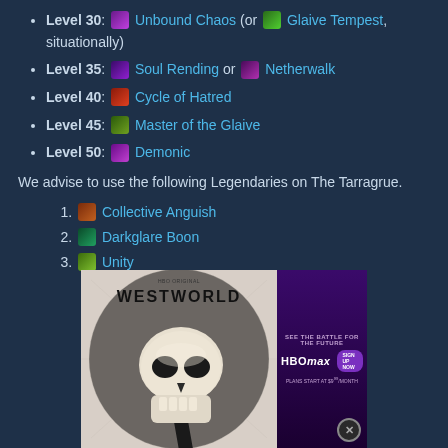Level 30: Unbound Chaos (or Glaive Tempest, situationally)
Level 35: Soul Rending or Netherwalk
Level 40: Cycle of Hatred
Level 45: Master of the Glaive
Level 50: Demonic
We advise to use the following Legendaries on The Tarragrue.
1. Collective Anguish
2. Darkglare Boon
3. Unity
[Figure (screenshot): Advertisement for Westworld on HBO Max showing a robotic hand holding a skull, with text 'See the Battle for the Future', 'HBOMAX', 'Sign up now', 'Plans start at $9.99/month']